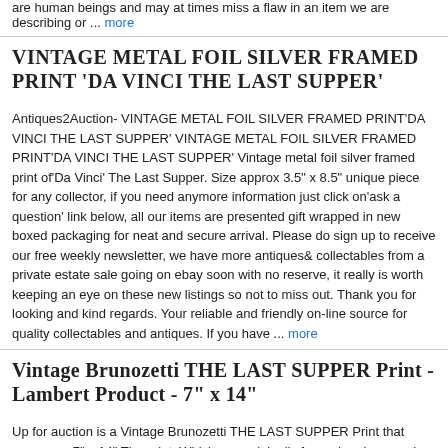are human beings and may at times miss a flaw in an item we are describing or ... more
VINTAGE METAL FOIL SILVER FRAMED PRINT 'DA VINCI THE LAST SUPPER'
Antiques2Auction- VINTAGE METAL FOIL SILVER FRAMED PRINT'DA VINCI THE LAST SUPPER' VINTAGE METAL FOIL SILVER FRAMED PRINT'DA VINCI THE LAST SUPPER' Vintage metal foil silver framed print of'Da Vinci' The Last Supper. Size approx 3.5" x 8.5" unique piece for any collector, if you need anymore information just click on'ask a question' link below, all our items are presented gift wrapped in new boxed packaging for neat and secure arrival. Please do sign up to receive our free weekly newsletter, we have more antiques& collectables from a private estate sale going on ebay soon with no reserve, it really is worth keeping an eye on these new listings so not to miss out. Thank you for looking and kind regards. Your reliable and friendly on-line source for quality collectables and antiques. If you have ... more
Vintage Brunozetti THE LAST SUPPER Print - Lambert Product - 7" x 14"
Up for auction is a Vintage Brunozetti THE LAST SUPPER Print that measures 7" x 14" The print. Which was originally framed and covered with glass, is in very nice, clean condition. Colors are not faded. There is a slight ragged edge on right side of print- nothing visible with frame. Original framed print was produced by Lambert Products, 230B. Backing is included with the print. Normal 0 MicrosoftInternetExplorer4 Please check out our other items for sale. New and Vintage items are added